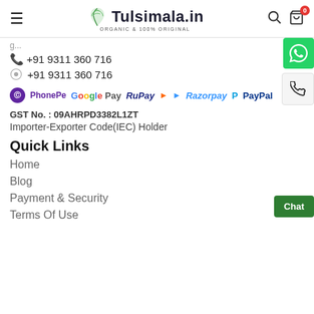Tulsimala.in - ORGANIC & 100% ORIGINAL
+91 9311 360 716 (phone)
+91 9311 360 716 (WhatsApp)
[Figure (logo): Payment method logos: PhonePe, G Pay, RuPay, Razorpay, PayPal]
GST No. : 09AHRPD3382L1ZT
Importer-Exporter Code(IEC) Holder
Quick Links
Home
Blog
Payment & Security
Terms Of Use